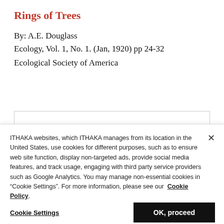Rings of Trees
By: A.E. Douglass
Ecology, Vol. 1, No. 1. (Jan, 1920) pp 24-32
Ecological Society of America
Join Our Newsletter
ITHAKA websites, which ITHAKA manages from its location in the United States, use cookies for different purposes, such as to ensure web site function, display non-targeted ads, provide social media features, and track usage, engaging with third party service providers such as Google Analytics. You may manage non-essential cookies in “Cookie Settings”. For more information, please see our Cookie Policy.
Cookie Settings
OK, proceed